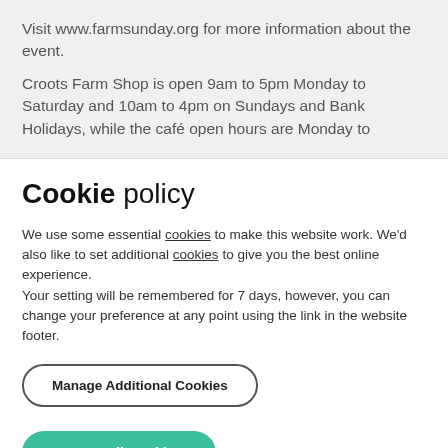Visit www.farmsunday.org for more information about the event.
Croots Farm Shop is open 9am to 5pm Monday to Saturday and 10am to 4pm on Sundays and Bank Holidays, while the café open hours are Monday to
Cookie policy
We use some essential cookies to make this website work. We'd also like to set additional cookies to give you the best online experience.
Your setting will be remembered for 7 days, however, you can change your preference at any point using the link in the website footer.
Manage Additional Cookies
Accept All Cookies